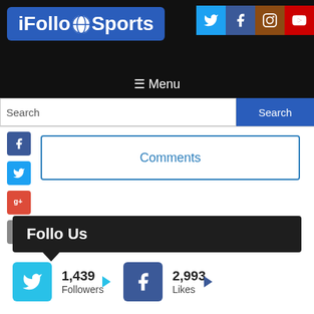[Figure (screenshot): iFolloSports website header with logo on dark background and social media icons (Twitter, Facebook, Instagram, YouTube) in top right]
≡ Menu
Search
[Figure (infographic): Social share buttons column: Facebook (blue), Twitter (cyan), Google+ (red), Email (grey)]
Comments
Follo Us
1,439 Followers
2,993 Likes